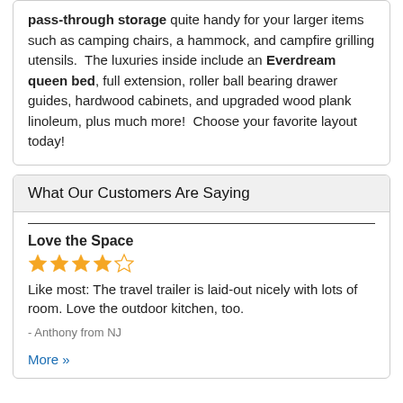pass-through storage quite handy for your larger items such as camping chairs, a hammock, and campfire grilling utensils.  The luxuries inside include an Everdream queen bed, full extension, roller ball bearing drawer guides, hardwood cabinets, and upgraded wood plank linoleum, plus much more!  Choose your favorite layout today!
What Our Customers Are Saying
Love the Space
[Figure (other): 4 out of 5 stars rating shown with gold star icons]
Like most: The travel trailer is laid-out nicely with lots of room. Love the outdoor kitchen, too.
- Anthony from NJ
More »